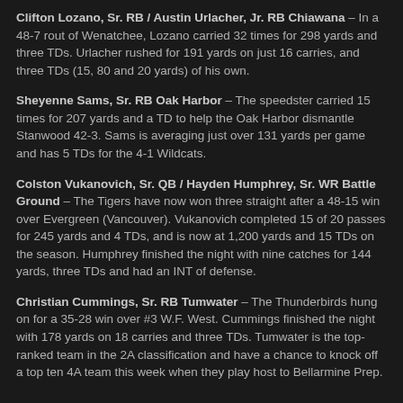Clifton Lozano, Sr. RB / Austin Urlacher, Jr. RB Chiawana – In a 48-7 rout of Wenatchee, Lozano carried 32 times for 298 yards and three TDs. Urlacher rushed for 191 yards on just 16 carries, and three TDs (15, 80 and 20 yards) of his own.
Sheyenne Sams, Sr. RB Oak Harbor – The speedster carried 15 times for 207 yards and a TD to help the Oak Harbor dismantle Stanwood 42-3. Sams is averaging just over 131 yards per game and has 5 TDs for the 4-1 Wildcats.
Colston Vukanovich, Sr. QB / Hayden Humphrey, Sr. WR Battle Ground – The Tigers have now won three straight after a 48-15 win over Evergreen (Vancouver). Vukanovich completed 15 of 20 passes for 245 yards and 4 TDs, and is now at 1,200 yards and 15 TDs on the season. Humphrey finished the night with nine catches for 144 yards, three TDs and had an INT of defense.
Christian Cummings, Sr. RB Tumwater – The Thunderbirds hung on for a 35-28 win over #3 W.F. West. Cummings finished the night with 178 yards on 18 carries and three TDs. Tumwater is the top-ranked team in the 2A classification and have a chance to knock off a top ten 4A team this week when they play host to Bellarmine Prep.